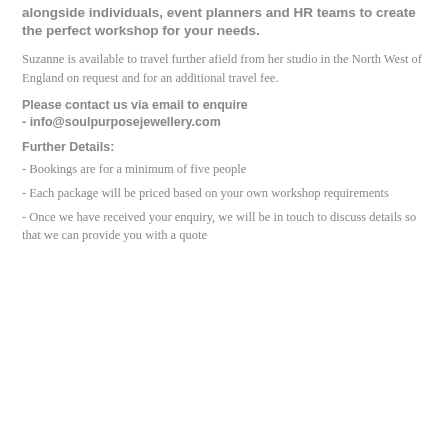alongside individuals, event planners and HR teams to create the perfect workshop for your needs.
Suzanne is available to travel further afield from her studio in the North West of England on request and for an additional travel fee.
Please contact us via email to enquire - info@soulpurposejewellery.com
Further Details:
- Bookings are for a minimum of five people
- Each package will be priced based on your own workshop requirements
- Once we have received your enquiry, we will be in touch to discuss details so that we can provide you with a quote